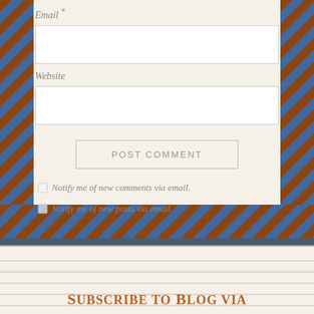Email *
Website
POST COMMENT
Notify me of new comments via email.
Notify me of new posts via email.
Subscribe to Blog via